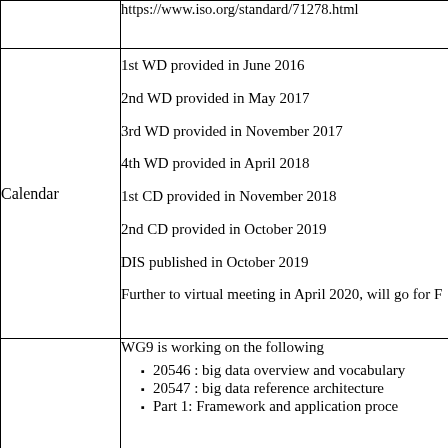|  | https://www.iso.org/standard/71278.html |
| Calendar | 1st WD provided in June 2016
2nd WD provided in May 2017
3rd WD provided in November 2017
4th WD provided in April 2018
1st CD provided in November 2018
2nd CD provided in October 2019
DIS published in October 2019
Further to virtual meeting in April 2020, will go for F |
|  | WG9 is working on the following
20546 : big data overview and vocabulary
20547 : big data reference architecture
Part 1: Framework and application proce |